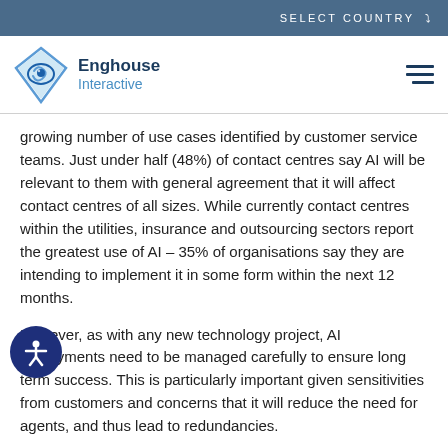SELECT COUNTRY
[Figure (logo): Enghouse Interactive logo with diamond/eye icon and company name]
growing number of use cases identified by customer service teams. Just under half (48%) of contact centres say AI will be relevant to them with general agreement that it will affect contact centres of all sizes. While currently contact centres within the utilities, insurance and outsourcing sectors report the greatest use of AI – 35% of organisations say they are intending to implement it in some form within the next 12 months.
However, as with any new technology project, AI deployments need to be managed carefully to ensure long term success. This is particularly important given sensitivities from customers and concerns that it will reduce the need for agents, and thus lead to redundancies.